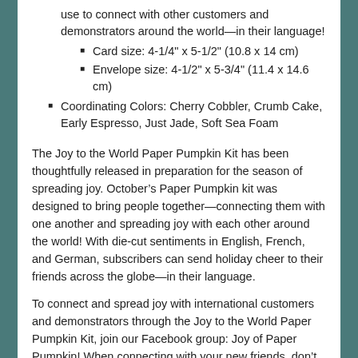use to connect with other customers and demonstrators around the world—in their language!
Card size: 4-1/4" x 5-1/2" (10.8 x 14 cm)
Envelope size: 4-1/2" x 5-3/4" (11.4 x 14.6 cm)
Coordinating Colors: Cherry Cobbler, Crumb Cake, Early Espresso, Just Jade, Soft Sea Foam
The Joy to the World Paper Pumpkin Kit has been thoughtfully released in preparation for the season of spreading joy. October's Paper Pumpkin kit was designed to bring people together—connecting them with one another and spreading joy with each other around the world! With die-cut sentiments in English, French, and German, subscribers can send holiday cheer to their friends across the globe—in their language.
To connect and spread joy with international customers and demonstrators through the Joy to the World Paper Pumpkin Kit, join our Facebook group: Joy of Paper Pumpkin! When connecting with your new friends, don't forget to share your experience with the